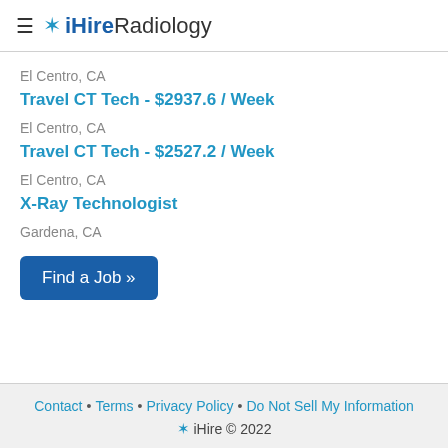iHireRadiology
El Centro, CA
Travel CT Tech - $2937.6 / Week
El Centro, CA
Travel CT Tech - $2527.2 / Week
El Centro, CA
X-Ray Technologist
Gardena, CA
Find a Job »
Contact • Terms • Privacy Policy • Do Not Sell My Information
✶ iHire © 2022